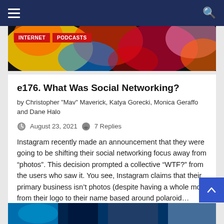Navigation bar with hamburger menu and search icon
[Figure (photo): Colorful abstract social media icons banner with INTERNET and PODCASTS tags overlaid]
e176. What Was Social Networking?
by Christopher "Mav" Maverick, Katya Gorecki, Monica Geraffo and Dane Halo
August 23, 2021  7 Replies
Instagram recently made an announcement that they were going to be shifting their social networking focus away from “photos”. This decision prompted a collective “WTF?” from the users who saw it. You see, Instagram claims that their primary business isn’t photos (despite having a whole motif from their logo to their name based around polaroid…
[Figure (photo): Partial image strip at bottom of page]